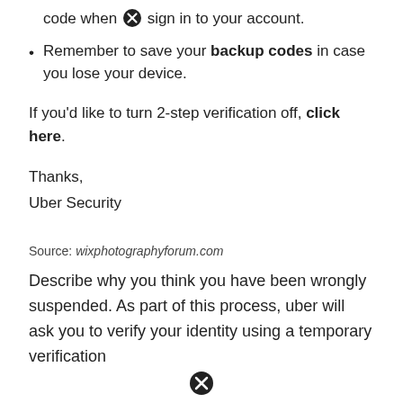code when you sign in to your account.
Remember to save your backup codes in case you lose your device.
If you'd like to turn 2-step verification off, click here.
Thanks,
Uber Security
Source: wixphotographyforum.com
Describe why you think you have been wrongly suspended. As part of this process, uber will ask you to verify your identity using a temporary verification